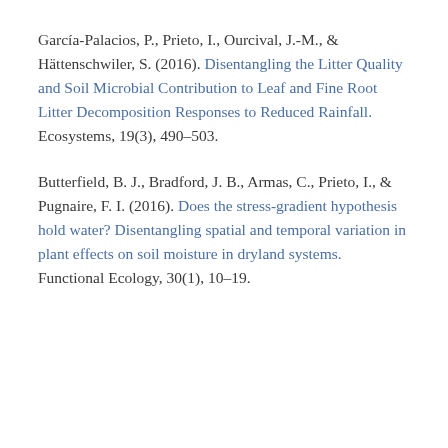García-Palacios, P., Prieto, I., Ourcival, J.-M., & Hättenschwiler, S. (2016). Disentangling the Litter Quality and Soil Microbial Contribution to Leaf and Fine Root Litter Decomposition Responses to Reduced Rainfall. Ecosystems, 19(3), 490–503.
Butterfield, B. J., Bradford, J. B., Armas, C., Prieto, I., & Pugnaire, F. I. (2016). Does the stress-gradient hypothesis hold water? Disentangling spatial and temporal variation in plant effects on soil moisture in dryland systems. Functional Ecology, 30(1), 10–19.